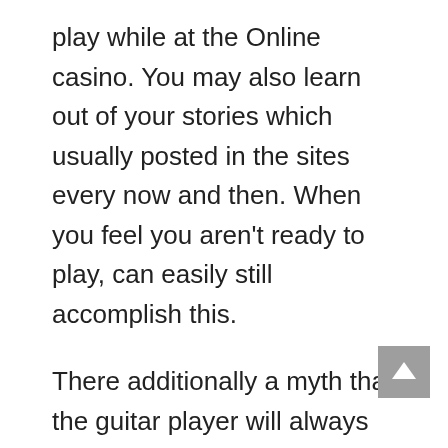play while at the Online casino. You may also learn out of your stories which usually posted in the sites every now and then. When you feel you aren't ready to play, can easily still accomplish this.
There additionally a myth that the guitar player will always win once they are counting cards. Again, this can't be more wrong. Rarely will there ever be an “always” in casino. Things should only certain you’re seen from the perspective of this “long offer.” The house advantage to your average blackjack game for your Las Vegas strip rrs incredibly low. A six